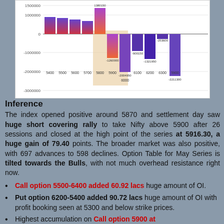[Figure (bar-chart): Options OI Change Bar Chart]
Inference
The index opened positive around 5870 and settlement day saw huge short covering rally to take Nifty above 5900 after 26 sessions and closed at the high point of the series at 5916.30, a huge gain of 79.40 points. The broader market was also positive, with 697 advances to 598 declines. Option Table for May Series is tilted towards the Bulls, with not much overhead resistance right now.
Call option 5500-6400 added 60.92 lacs huge amount of OI.
Put option 6200-5400 added 90.72 lacs huge amount of OI with profit booking seen at 5300 and below strike prices.
Highest accumulation on Call option 5900 at